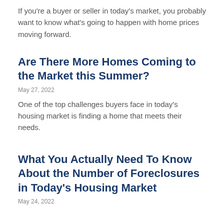If you're a buyer or seller in today's market, you probably want to know what's going to happen with home prices moving forward.
Are There More Homes Coming to the Market this Summer?
May 27, 2022
One of the top challenges buyers face in today's housing market is finding a home that meets their needs.
What You Actually Need To Know About the Number of Foreclosures in Today's Housing Market
May 24, 2022